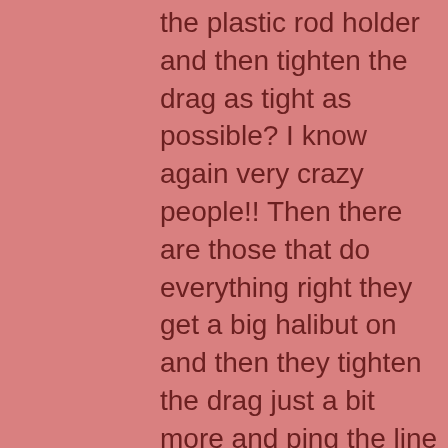But when they put the halibut on in the plastic rod holder and then tighten the drag as tight as possible? I know again very crazy people!! Then there are those that do everything right they get a big halibut on and then they tighten the drag just a bit more and ping the line breaks. I know crazy people again. So yes you guessed it the topic of this discussion is big halibut getting away. The big mistake that can be made is the drag being to tight. If you can not pull it out with your hand it is too tight in my opinion. I like to let the halibut take that bait and run with it, this allows that circle hook to set itself as they move and run away. So remember when halibut fishing always keep the drag loose and let